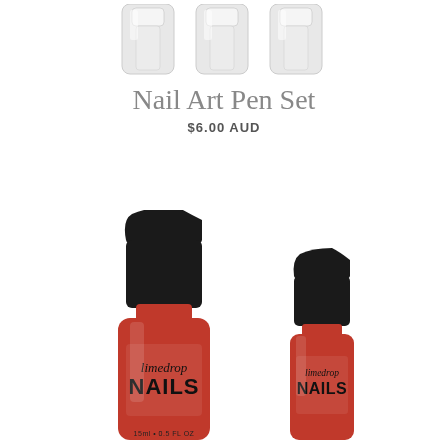[Figure (photo): Three clear/transparent nail art pen caps/applicators shown at the top of the image against a white background]
Nail Art Pen Set
$6.00 AUD
[Figure (photo): Two Limedrop Nails red nail polish bottles with black caps — a larger bottle on the left and a smaller one on the right, both labeled 'limedrop NAILS' in script and block lettering on a red label]